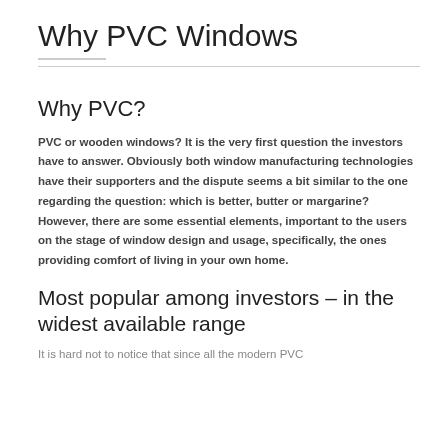Why PVC Windows
Why PVC?
PVC or wooden windows? It is the very first question the investors have to answer. Obviously both window manufacturing technologies have their supporters and the dispute seems a bit similar to the one regarding the question: which is better, butter or margarine? However, there are some essential elements, important to the users on the stage of window design and usage, specifically, the ones providing comfort of living in your own home.
Most popular among investors – in the widest available range
It is hard not to notice that since all the modern PVC